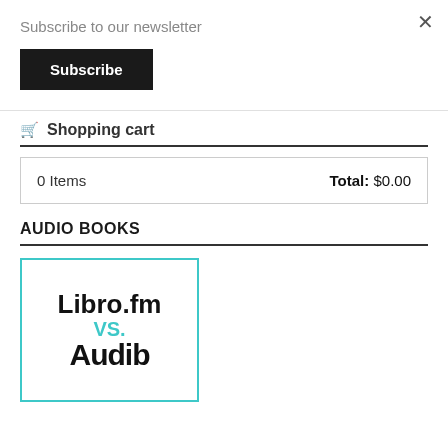×
Subscribe to our newsletter
Subscribe
🛒 Shopping cart
| Items | Total |
| --- | --- |
| 0 Items | Total: $0.00 |
AUDIO BOOKS
[Figure (illustration): Libro.fm vs Audible book cover image with teal border, large bold black text 'Libro.fm', teal 'VS.', and large black partial text 'Audible']